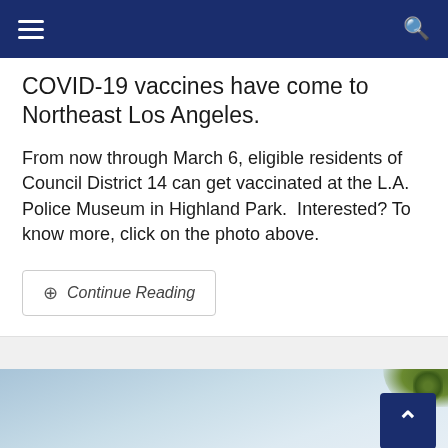Navigation bar with hamburger menu and search icon
COVID-19 vaccines have come to Northeast Los Angeles.
From now through March 6, eligible residents of Council District 14 can get vaccinated at the L.A. Police Museum in Highland Park.  Interested? To know more, click on the photo above.
Continue Reading
[Figure (photo): Partial photo strip at the bottom of the page showing a sky/outdoor scene with foliage in the top right corner and a back-to-top button (dark blue square with up arrow) in the lower right.]